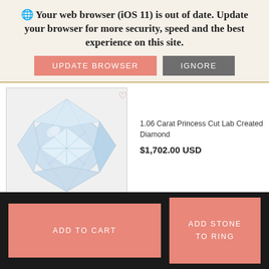🌐 Your web browser (iOS 11) is out of date. Update your browser for more security, speed and the best experience on this site.
UPDATE BROWSER
IGNORE
[Figure (photo): Princess cut lab created diamond, square shape with faceted top, light blue-white color, photographed on white background]
1.06 Carat Princess Cut Lab Created Diamond
$1,702.00 USD
ADD TO CART
ADD STONE TO RING